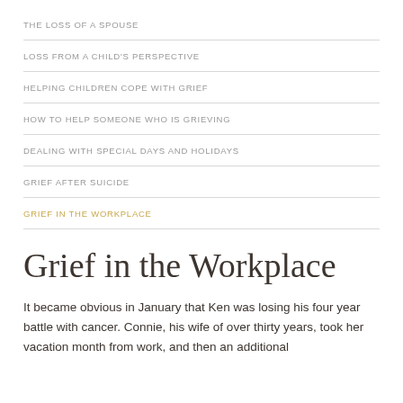THE LOSS OF A SPOUSE
LOSS FROM A CHILD'S PERSPECTIVE
HELPING CHILDREN COPE WITH GRIEF
HOW TO HELP SOMEONE WHO IS GRIEVING
DEALING WITH SPECIAL DAYS AND HOLIDAYS
GRIEF AFTER SUICIDE
GRIEF IN THE WORKPLACE
Grief in the Workplace
It became obvious in January that Ken was losing his four year battle with cancer. Connie, his wife of over thirty years, took her vacation month from work, and then an additional